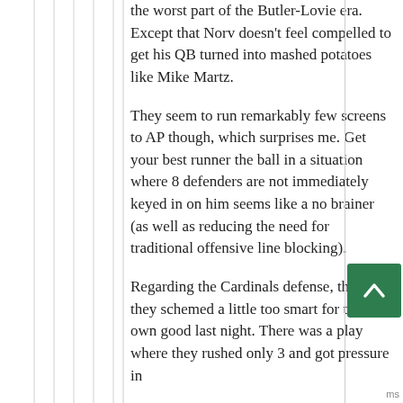the worst part of the Butler-Lovie era. Except that Norv doesn't feel compelled to get his QB turned into mashed potatoes like Mike Martz.
They seem to run remarkably few screens to AP though, which surprises me. Get your best runner the ball in a situation where 8 defenders are not immediately keyed in on him seems like a no brainer (as well as reducing the need for traditional offensive line blocking).
Regarding the Cardinals defense, think they schemed a little too smart for their own good last night. There was a play where they rushed only 3 and got pressure in